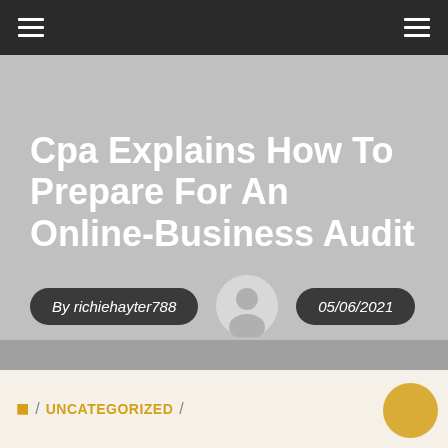Navigation bar with hamburger menus
Cpa Explains How To Prepare For An Online-Business Audit
By richiehayter788
05/06/2021
Uncategorized
Home / UNCATEGORIZED /